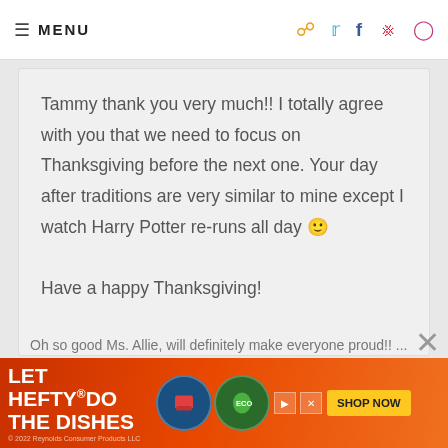MENU
Tammy thank you very much!! I totally agree with you that we need to focus on Thanksgiving before the next one. Your day after traditions are very similar to mine except I watch Harry Potter re-runs all day 🙂 Have a happy Thanksgiving!
ALLIE | BAKING A MOMENT — NOVEMBER ... 3:04 PM  REPLY
[Figure (other): What's Next panel with image of Brown Butter Sweet Potato dish]
[Figure (other): Advertisement banner: LET HEFTY DO THE DISHES with product images and SHOP NOW button]